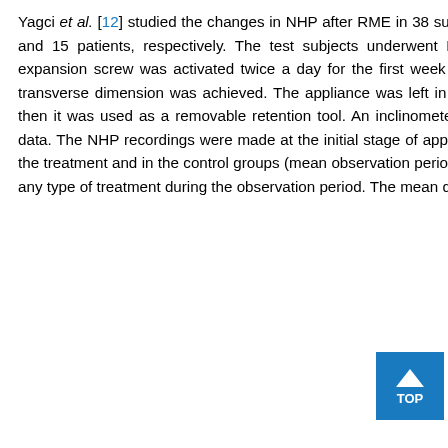Yagci et al. [12] studied the changes in NHP after RME in 38 subjects. The treatment and the control groups consisted of 23 and 15 patients, respectively. The test subjects underwent RME treatment using full cap acrylic device. The midline expansion screw was activated twice a day for the first week and once a day thereafter, until the desired change in the transverse dimension was achieved. The appliance was left in place for one month after the active expansion period, and then it was used as a removable retention tool. An inclinometer and a portable data logger were used to collect the NHP data. The NHP recordings were made at the initial stage of appliance placement and at the end of the RME therapy, both in the treatment and in the control groups (mean observation period: 7-8 months). Subjects in the control group did not undergo any type of treatment during the observation period. The mean difference between initial and final